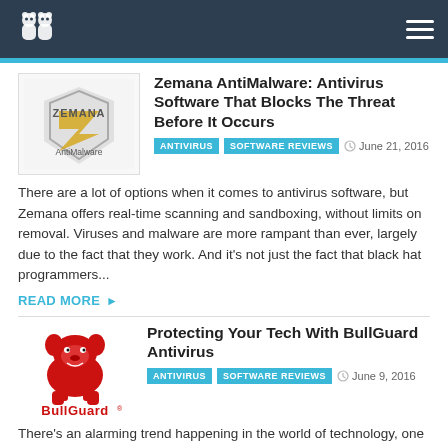Site header with logo and navigation menu
Zemana AntiMalware: Antivirus Software That Blocks The Threat Before It Occurs
ANTIVIRUS  SOFTWARE REVIEWS  June 21, 2016
There are a lot of options when it comes to antivirus software, but Zemana offers real-time scanning and sandboxing, without limits on removal. Viruses and malware are more rampant than ever, largely due to the fact that they work. And it's not just the fact that black hat programmers...
READ MORE ▶
Protecting Your Tech With BullGuard Antivirus
ANTIVIRUS  SOFTWARE REVIEWS  June 9, 2016
There's an alarming trend happening in the world of technology, one that affects everyone from thirteen-year-old girls who use their iPhones for Snapchat to company executives running Fortune 500 companies. It's the